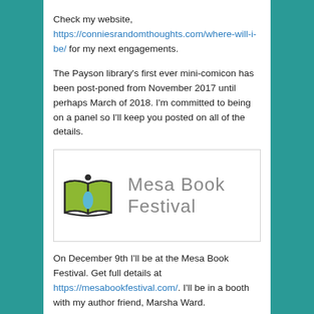Check my website, https://conniesrandomthoughts.com/where-will-i-be/ for my next engagements.
The Payson library's first ever mini-comicon has been post-poned from November 2017 until perhaps March of 2018. I'm committed to being on a panel so I'll keep you posted on all of the details.
[Figure (logo): Mesa Book Festival logo with an open green book and person figure icon, with text 'Mesa Book Festival']
On December 9th I'll be at the Mesa Book Festival. Get full details at https://mesabookfestival.com/. I'll be in a booth with my author friend, Marsha Ward. www.MarshaWard.com. Between the two of us, we have a